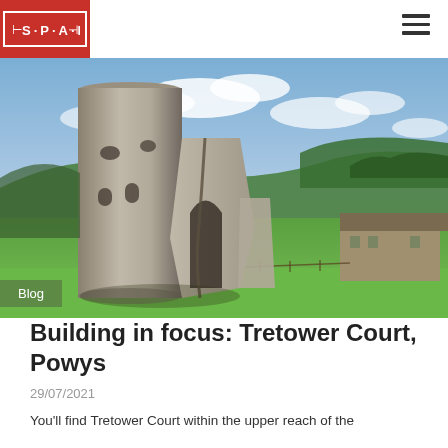SPAB logo and navigation
[Figure (photo): Photograph of Tretower Court ruins in Powys, Wales — a tall cylindrical stone tower and ruined stone walls set in green countryside with rolling hills and a partly cloudy sky in the background. A stone farmhouse building is visible to the right.]
Blog
Building in focus: Tretower Court, Powys
29/07/2021
You'll find Tretower Court within the upper reach of the